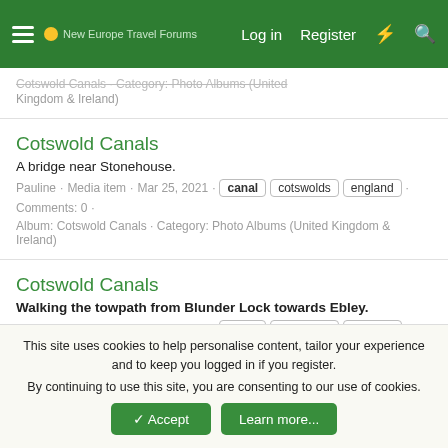New Europe Travel Forums — Log in — Register
Cotswold Canals · Category: Photo Albums (United Kingdom & Ireland)
Cotswold Canals
A bridge near Stonehouse.
Pauline · Media item · Mar 25, 2021 · canal · cotswolds · england · Comments: 0 · Album: Cotswold Canals · Category: Photo Albums (United Kingdom & Ireland)
Cotswold Canals
Walking the towpath from Blunder Lock towards Ebley.
Pauline · Media item · Mar 25, 2021 · canal · cotswolds · england · Comments: 0 · Album: Cotswold Canals · Category: Photo Albums (United
This site uses cookies to help personalise content, tailor your experience and to keep you logged in if you register.
By continuing to use this site, you are consenting to our use of cookies.